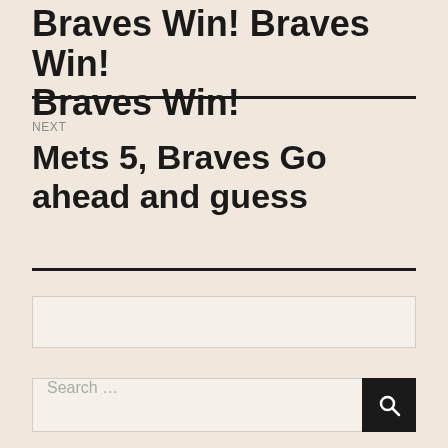Braves Win! Braves Win! Braves Win!
NEXT
Mets 5, Braves Go ahead and guess
Search ...